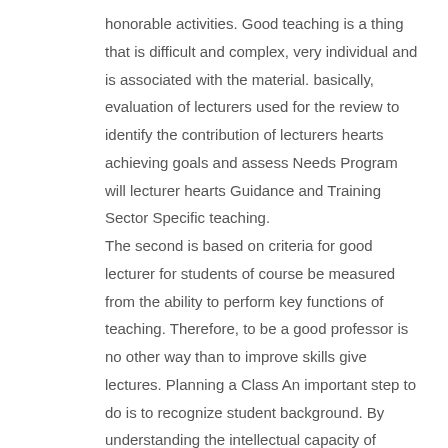honorable activities. Good teaching is a thing that is difficult and complex, very individual and is associated with the material. basically, evaluation of lecturers used for the review to identify the contribution of lecturers hearts achieving goals and assess Needs Program will lecturer hearts Guidance and Training Sector Specific teaching. The second is based on criteria for good lecturer for students of course be measured from the ability to perform key functions of teaching. Therefore, to be a good professor is no other way than to improve skills give lectures. Planning a Class An important step to do is to recognize student background. By understanding the intellectual capacity of students, faculty can deliver lecture material in accordance with the comprehension and acceptance of students, so that the course material is not too hard and not too easy for students. The third Every effort is actually a professor lecturing want to grow or enhance certain patterns of behavior within the students, while also fostering a habit, so the skilled student